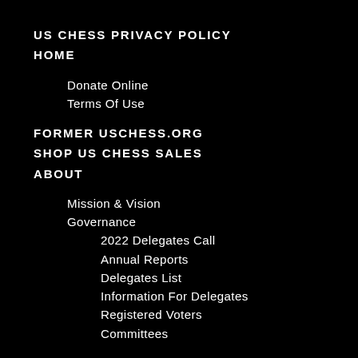US CHESS PRIVACY POLICY
HOME
Donate Online
Terms Of Use
FORMER USCHESS.ORG
SHOP US CHESS SALES
ABOUT
Mission & Vision
Governance
2022 Delegates Call
Annual Reports
Delegates List
Information For Delegates
Registered Voters
Committees
Advertise
Media Kit